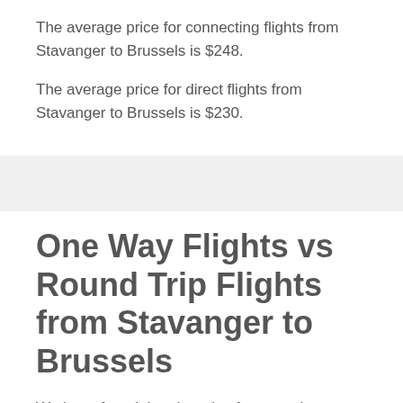The average price for connecting flights from Stavanger to Brussels is $248.
The average price for direct flights from Stavanger to Brussels is $230.
One Way Flights vs Round Trip Flights from Stavanger to Brussels
We have found that there is often no price difference between buying a round trip flight versus a one way